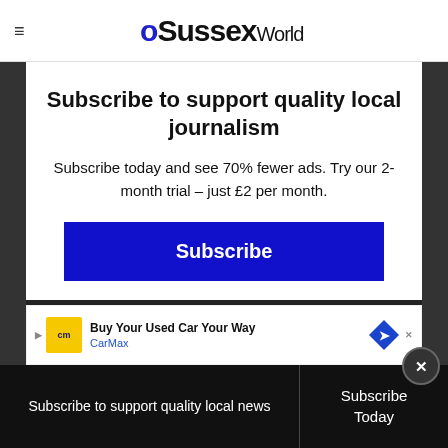OSussex World
Subscribe to support quality local journalism
Subscribe today and see 70% fewer ads. Try our 2-month trial – just £2 per month.
Subscribe
Already subscribed? Log in here
[Figure (infographic): CarMax advertisement banner: Buy Your Used Car Your Way]
Subscribe to support quality local news
Subscribe Today